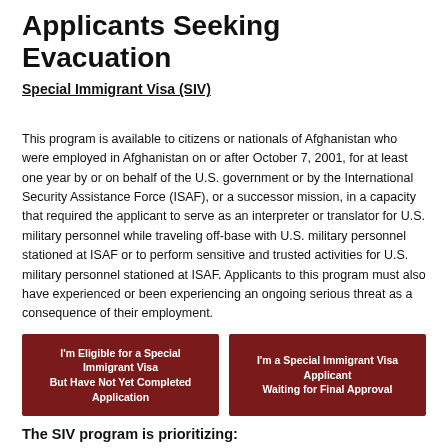Applicants Seeking Evacuation
Special Immigrant Visa (SIV)
This program is available to citizens or nationals of Afghanistan who were employed in Afghanistan on or after October 7, 2001, for at least one year by or on behalf of the U.S. government or by the International Security Assistance Force (ISAF), or a successor mission, in a capacity that required the applicant to serve as an interpreter or translator for U.S. military personnel while traveling off-base with U.S. military personnel stationed at ISAF or to perform sensitive and trusted activities for U.S. military personnel stationed at ISAF. Applicants to this program must also have experienced or been experiencing an ongoing serious threat as a consequence of their employment.
[Figure (other): Two dark red buttons: 'I'm Eligible for a Special Immigrant Visa But Have Not Yet Completed Application' and 'I'm a Special Immigrant Visa Applicant Waiting for Final Approval']
The SIV program is prioritizing:
1. Interpreters and Translators